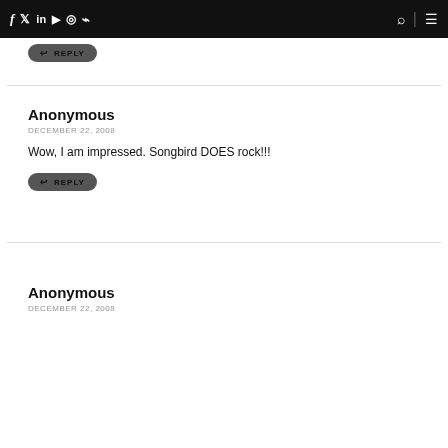f  t  in  yt  ig  rss  [search] [menu]
REPLY
Anonymous
DECEMBER 22, 2008
Wow, I am impressed. Songbird DOES rock!!!
REPLY
Anonymous
DECEMBER 22, 2008